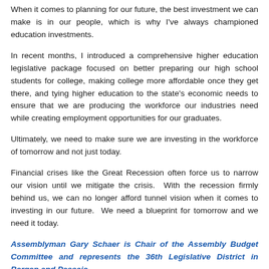When it comes to planning for our future, the best investment we can make is in our people, which is why I've always championed education investments.
In recent months, I introduced a comprehensive higher education legislative package focused on better preparing our high school students for college, making college more affordable once they get there, and tying higher education to the state's economic needs to ensure that we are producing the workforce our industries need while creating employment opportunities for our graduates.
Ultimately, we need to make sure we are investing in the workforce of tomorrow and not just today.
Financial crises like the Great Recession often force us to narrow our vision until we mitigate the crisis.  With the recession firmly behind us, we can no longer afford tunnel vision when it comes to investing in our future.  We need a blueprint for tomorrow and we need it today.
Assemblyman Gary Schaer is Chair of the Assembly Budget Committee and represents the 36th Legislative District in Bergen and Passaic